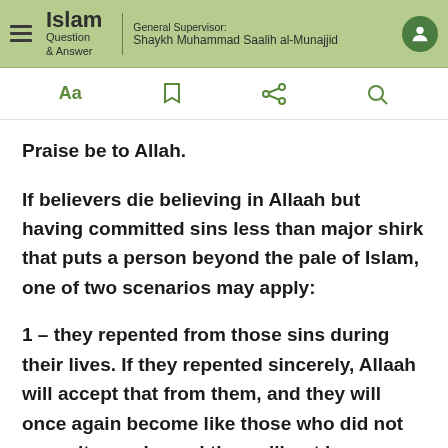Islam Question & Answer | General Supervisor: Shaykh Muhammad Saalih al-Munajjid
Praise be to Allah.
If believers die believing in Allaah but having committed sins less than major shirk that puts a person beyond the pale of Islam, one of two scenarios may apply:
1 – they repented from those sins during their lives. If they repented sincerely, Allaah will accept that from them, and they will once again become like those who did not commit any sin, and they will not be